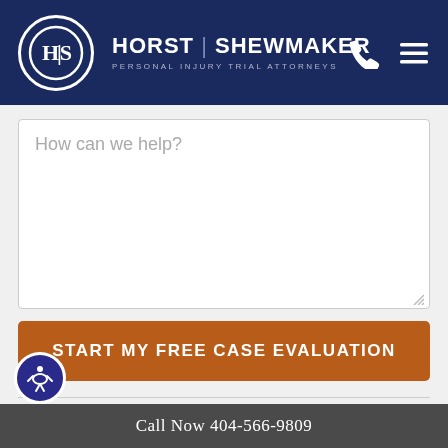HORST | SHEWMAKER — PERSONAL INJURY TRIAL ATTORNEYS
How can we help?
START MY FREE CASE EVALUATION
ATTORNEYS   AREAS OF PRACTICE
CONTACT US   BLOG
Call Now 404-566-9809